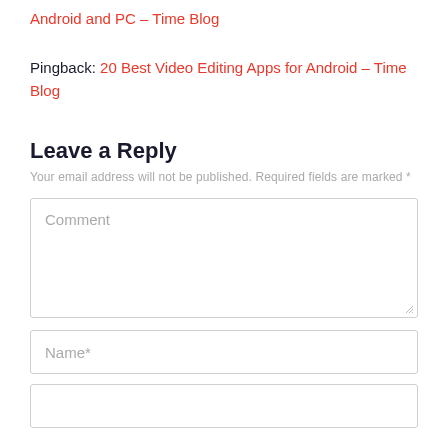Android and PC – Time Blog
Pingback: 20 Best Video Editing Apps for Android – Time Blog
Leave a Reply
Your email address will not be published. Required fields are marked *
Comment
Name*